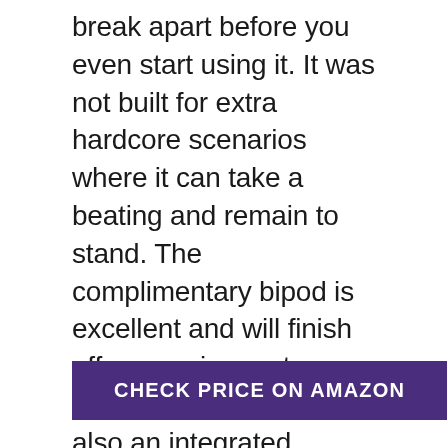break apart before you even start using it. It was not built for extra hardcore scenarios where it can take a beating and remain to stand. The complimentary bipod is excellent and will finish off your sniper setup very smoothly. There is also an integrated weaver rail mount that allows room for you to add all the accessories you need to be the best sniper in the game.
CHECK PRICE ON AMAZON